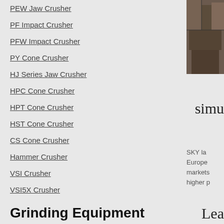PEW Jaw Crusher
PF Impact Crusher
PFW Impact Crusher
PY Cone Crusher
HJ Series Jaw Crusher
HPC Cone Crusher
HPT Cone Crusher
HST Cone Crusher
CS Cone Crusher
Hammer Crusher
VSI Crusher
VSI5X Crusher
Grinding Equipment
[Figure (photo): Industrial machinery photo, partially visible on right side]
simu
SKY la Europe markets higher p
Lea
If you c your co